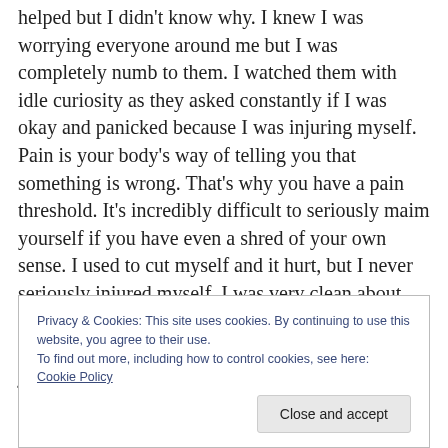helped but I didn't know why. I knew I was worrying everyone around me but I was completely numb to them. I watched them with idle curiosity as they asked constantly if I was okay and panicked because I was injuring myself. Pain is your body's way of telling you that something is wrong. That's why you have a pain threshold. It's incredibly difficult to seriously maim yourself if you have even a shred of your own sense. I used to cut myself and it hurt, but I never seriously injured myself. I was very clean about my implement and about cleaning myself up afterwards. The cutting was worrying, but it was just a sign
Privacy & Cookies: This site uses cookies. By continuing to use this website, you agree to their use.
To find out more, including how to control cookies, see here: Cookie Policy
Close and accept